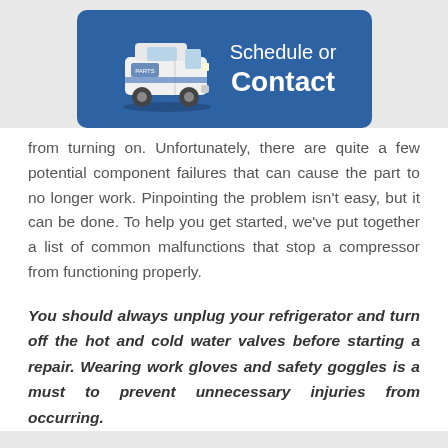[Figure (illustration): Blue rounded rectangle button with a white service van illustration on the left and white text reading 'Schedule or Contact' on the right]
from turning on. Unfortunately, there are quite a few potential component failures that can cause the part to no longer work. Pinpointing the problem isn't easy, but it can be done. To help you get started, we've put together a list of common malfunctions that stop a compressor from functioning properly.
You should always unplug your refrigerator and turn off the hot and cold water valves before starting a repair. Wearing work gloves and safety goggles is a must to prevent unnecessary injuries from occurring.